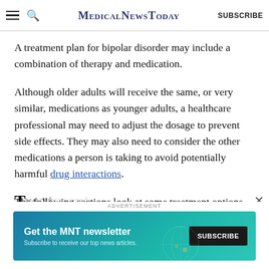MedicalNewsToday | SUBSCRIBE
A treatment plan for bipolar disorder may include a combination of therapy and medication.
Although older adults will receive the same, or very similar, medications as younger adults, a healthcare professional may need to adjust the dosage to prevent side effects. They may also need to consider the other medications a person is taking to avoid potentially harmful drug interactions.
The following sections look at some treatment options for bipolar disorder in more detail.
T...
[Figure (other): Advertisement banner for MNT newsletter with Subscribe button and globe graphic]